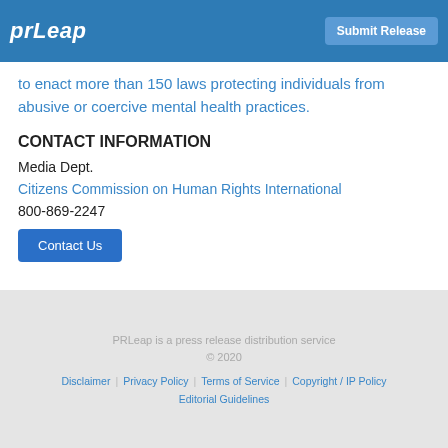prleap | Submit Release
to enact more than 150 laws protecting individuals from abusive or coercive mental health practices.
CONTACT INFORMATION
Media Dept.
Citizens Commission on Human Rights International
800-869-2247
Contact Us
PRLeap is a press release distribution service © 2020 Disclaimer | Privacy Policy | Terms of Service | Copyright / IP Policy | Editorial Guidelines